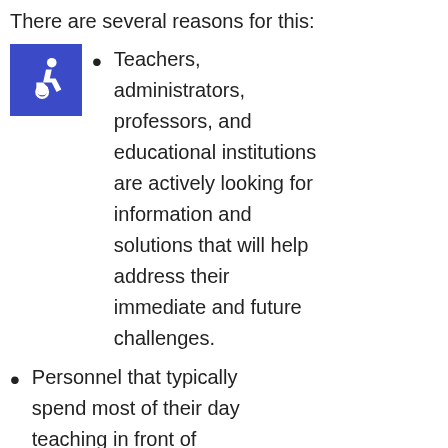There are several reasons for this:
Teachers, administrators, professors, and educational institutions are actively looking for information and solutions that will help address their immediate and future challenges.
Personnel that typically spend most of their day teaching in front of